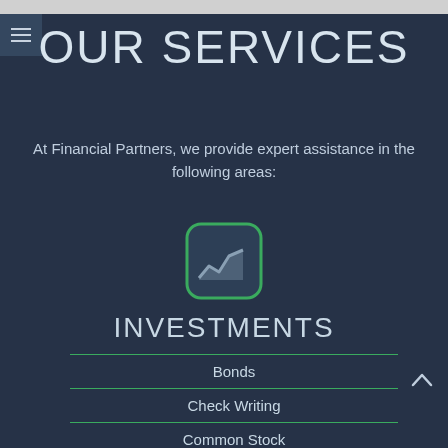OUR SERVICES
At Financial Partners, we provide expert assistance in the following areas:
[Figure (illustration): Rounded square icon with green border containing a light gray area/line chart symbol representing investments]
INVESTMENTS
Bonds
Check Writing
Common Stock